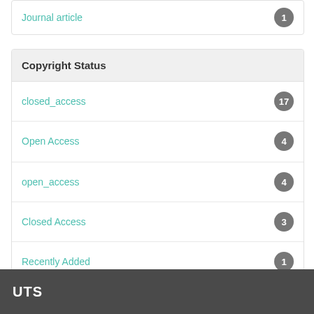Journal article 1
Copyright Status
closed_access 17
Open Access 4
open_access 4
Closed Access 3
Recently Added 1
UTS